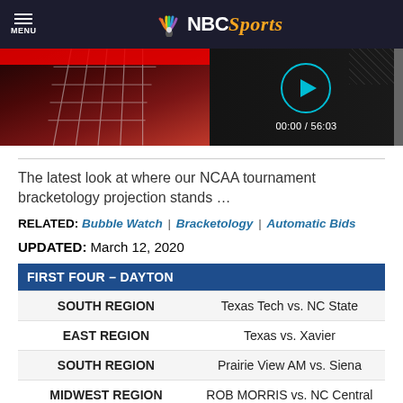NBC Sports
[Figure (screenshot): Video thumbnail showing basketball net on left half and video player controls (play button circle, timer 00:00 / 56:03) on dark right half]
The latest look at where our NCAA tournament bracketology projection stands …
RELATED: Bubble Watch | Bracketology | Automatic Bids
UPDATED: March 12, 2020
| FIRST FOUR – DAYTON |  |
| --- | --- |
| SOUTH REGION | Texas Tech vs. NC State |
| EAST REGION | Texas vs. Xavier |
| SOUTH REGION | Prairie View AM vs. Siena |
| MIDWEST REGION | ROB MORRIS vs. NC Central |